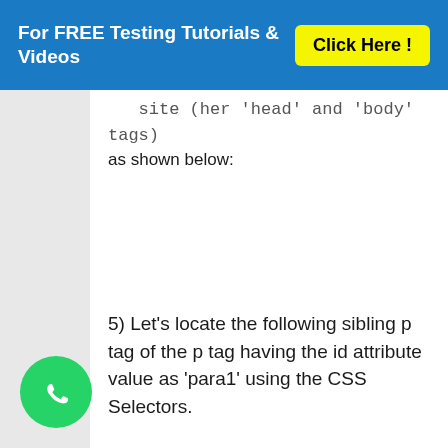For FREE Testing Tutorials & Videos   Click Here !
site (her 'head' and 'body' tags) as shown below:
5) Let’s locate the following sibling p tag of the p tag having the id attribute value as ‘para1’ using the CSS Selectors.